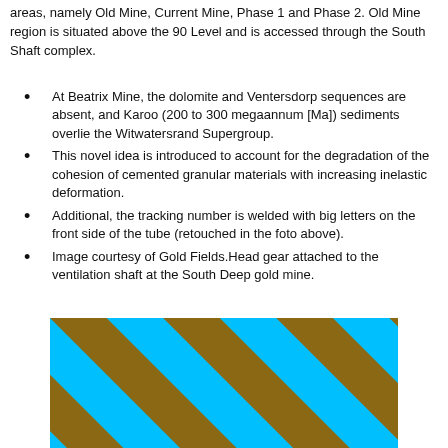areas, namely Old Mine, Current Mine, Phase 1 and Phase 2. Old Mine region is situated above the 90 Level and is accessed through the South Shaft complex.
At Beatrix Mine, the dolomite and Ventersdorp sequences are absent, and Karoo (200 to 300 megaannum [Ma]) sediments overlie the Witwatersrand Supergroup.
This novel idea is introduced to account for the degradation of the cohesion of cemented granular materials with increasing inelastic deformation.
Additional, the tracking number is welded with big letters on the front side of the tube (retouched in the foto above).
Image courtesy of Gold Fields.Head gear attached to the ventilation shaft at the South Deep gold mine.
[Figure (illustration): Diagonal striped pattern with alternating cyan/turquoise and brown/golden stripes running diagonally from upper-left to lower-right.]